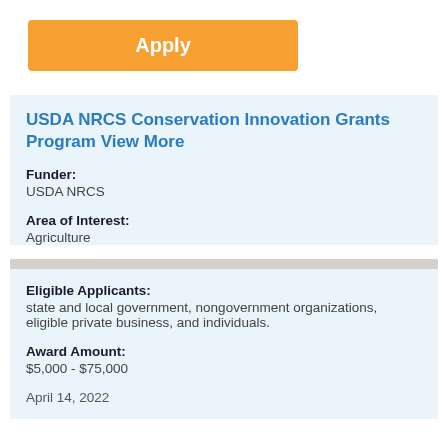Apply
USDA NRCS Conservation Innovation Grants Program View More
Funder:
USDA NRCS
Area of Interest:
Agriculture
Eligible Applicants:
state and local government, nongovernment organizations, eligible private business, and individuals.
Award Amount:
$5,000 - $75,000
April 14, 2022